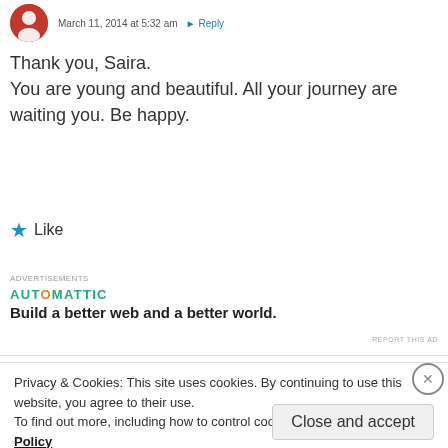March 11, 2014 at 5:32 am  Reply
Thank you, Saira.
You are young and beautiful. All your journey are waiting you. Be happy.
★ Like
[Figure (infographic): Advertisement: AUTOMATTIC logo with tagline 'Build a better web and a better world.']
Privacy & Cookies: This site uses cookies. By continuing to use this website, you agree to their use.
To find out more, including how to control cookies, see here: Cookie Policy
Close and accept